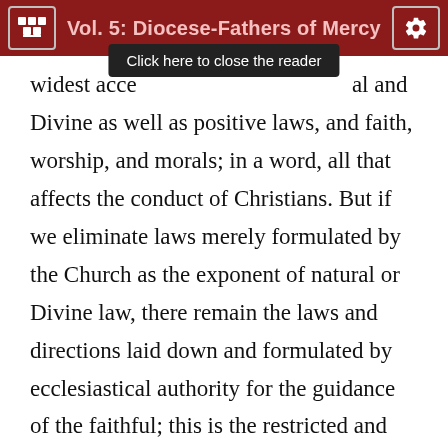Vol. 5: Diocese-Fathers of Mercy
[Figure (screenshot): Tooltip overlay reading 'Click here to close the reader']
widest acce[ptation, including natural and Divine] as well as positive laws, and faith, worship, and morals; in a word, all that affects the conduct of Christians. But if we eliminate laws merely formulated by the Church as the exponent of natural or Divine law, there remain the laws and directions laid down and formulated by ecclesiastical authority for the guidance of the faithful; this is the restricted and more usual acceptation of the word discipline. Nevertheless, it must be understood that this distinction, however justified, is not made for the purpose of separating